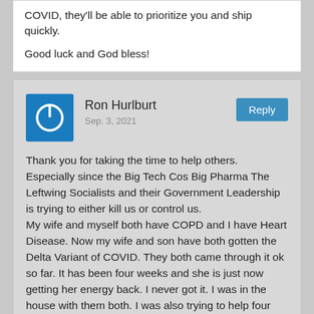COVID, they'll be able to prioritize you and ship quickly.

Good luck and God bless!
Ron Hurlburt
Sep. 3, 2021
Thank you for taking the time to help others. Especially since the Big Tech Cos Big Pharma The Leftwing Socialists and their Government Leadership is trying to either kill us or control us.
My wife and myself both have COPD and I have Heart Disease. Now my wife and son have both gotten the Delta Variant of COVID. They both came through it ok so far. It has been four weeks and she is just now getting her energy back. I never got it. I was in the house with them both. I was also trying to help four other friends who got it and was around them for a week. I just might have a immunity to it.
Still though, I want the Meds listed here to have on hand...